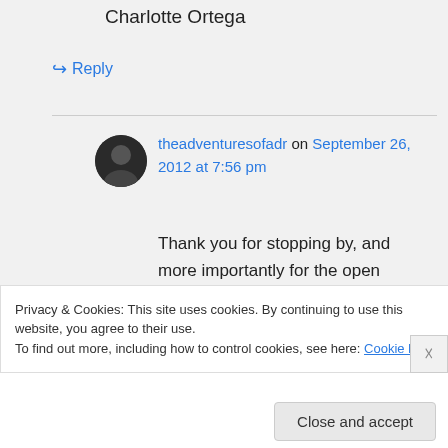Charlotte Ortega
↪ Reply
theadventuresofadr on September 26, 2012 at 7:56 pm
Thank you for stopping by, and more importantly for the open invitation to your home Charlotte! That is a very gracious offer and
Privacy & Cookies: This site uses cookies. By continuing to use this website, you agree to their use.
To find out more, including how to control cookies, see here: Cookie Policy
Close and accept